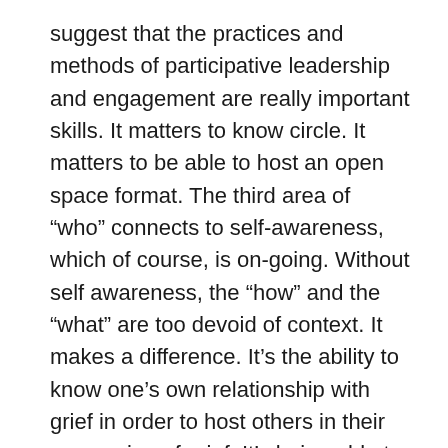suggest that the practices and methods of participative leadership and engagement are really important skills. It matters to know circle. It matters to be able to host an open space format. The third area of “who” connects to self-awareness, which of course, is on-going. Without self awareness, the “how” and the “what” are too devoid of context. It makes a difference. It’s the ability to know one’s own relationship with grief in order to host others in their processing of grief. It’s being able to encourage a group to dwell in its fear, to find the medicine, because you are in your own process of relating to fear.
I love the awareness that comes with attention to “who.” It’s so much in the work that Kinde Nebeker and I convene around The Inner and Outer of Evolutionary Leadership. It’s so much in the Humaning retreat space that Quanita Roberson and I offer, QT, to get to more of the foundation layers. It’s so much in the work of circle